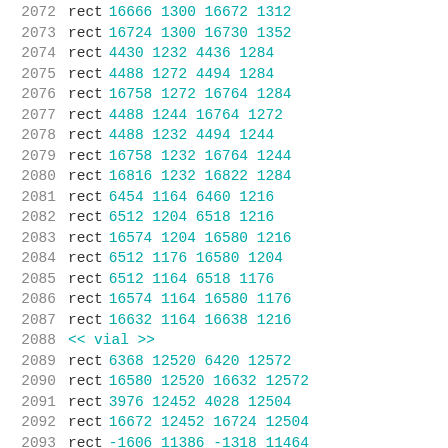2072    rect 16666 1300 16672 1312
2073    rect 16724 1300 16730 1352
2074    rect 4430 1232 4436 1284
2075    rect 4488 1272 4494 1284
2076    rect 16758 1272 16764 1284
2077    rect 4488 1244 16764 1272
2078    rect 4488 1232 4494 1244
2079    rect 16758 1232 16764 1244
2080    rect 16816 1232 16822 1284
2081    rect 6454 1164 6460 1216
2082    rect 6512 1204 6518 1216
2083    rect 16574 1204 16580 1216
2084    rect 6512 1176 16580 1204
2085    rect 6512 1164 6518 1176
2086    rect 16574 1164 16580 1176
2087    rect 16632 1164 16638 1216
2088    << vial >>
2089    rect 6368 12520 6420 12572
2090    rect 16580 12520 16632 12572
2091    rect 3976 12452 4028 12504
2092    rect 16672 12452 16724 12504
2093    rect -1606 11386 -1318 11464